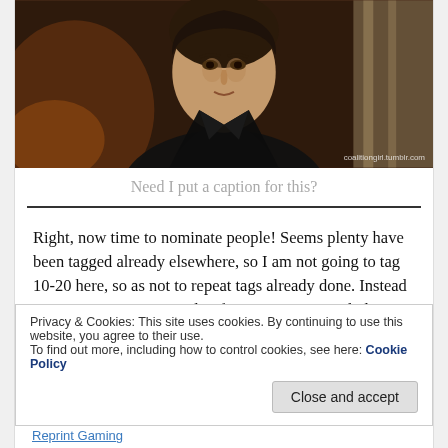[Figure (photo): A man wearing a black leather jacket, photographed indoors. Watermark text reads 'coalitiongirl.tumblr.com' in bottom right corner.]
Need I put a caption for this?
Right, now time to nominate people! Seems plenty have been tagged already elsewhere, so I am not going to tag 10-20 here, so as not to repeat tags already done. Instead I am going to tag 5 people; if you are mentioned, don't consider it an obligation, but a suggestion! My 5 questions for you all are then below.
Privacy & Cookies: This site uses cookies. By continuing to use this website, you agree to their use.
To find out more, including how to control cookies, see here: Cookie Policy
Close and accept
Reprint Gaming